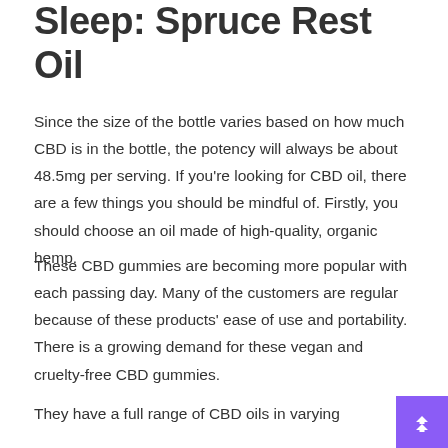Sleep: Spruce Rest Oil
Since the size of the bottle varies based on how much CBD is in the bottle, the potency will always be about 48.5mg per serving. If you're looking for CBD oil, there are a few things you should be mindful of. Firstly, you should choose an oil made of high-quality, organic hemp.
These CBD gummies are becoming more popular with each passing day. Many of the customers are regular because of these products' ease of use and portability. There is a growing demand for these vegan and cruelty-free CBD gummies.
They have a full range of CBD oils in varying